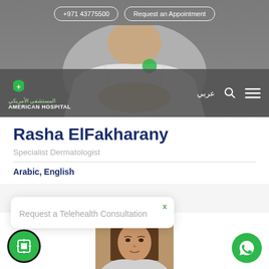[Figure (screenshot): American Hospital website header with navigation buttons and logo bar over a grey background with doctor photo]
Rasha ElFakharany
Specialist Dermatologist
Arabic, English
[Figure (screenshot): Popup card: Request a Telehealth Consultation with X close button]
[Figure (photo): Partial photo of a woman with brown hair at the bottom of the page]